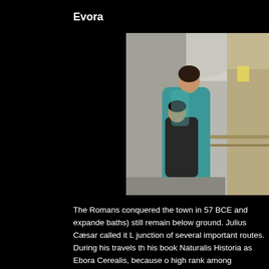Evora
[Figure (photo): A woman in a teal shirt holding a young child in a corridor with an arched ceiling and stone walls]
The Romans conquered the town in 57 BCE and expanded baths) still remain below ground. Julius Cæsar called it L junction of several important routes. During his travels t his book Naturalis Historia as Ebora Cerealis, because o high rank among municipalities in Roman Hispania is cl centre of the town dates from the first century and was p already a bishop, named Quintianus.